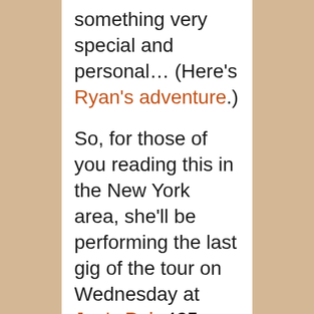something very special and personal… (Here's Ryan's adventure.) So, for those of you reading this in the New York area, she'll be performing the last gig of the tour on Wednesday at Joe's Pub 425 Lafayette